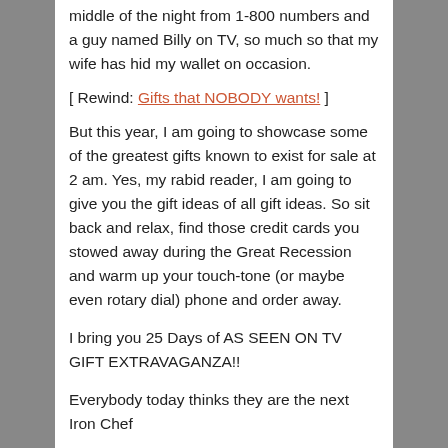middle of the night from 1-800 numbers and a guy named Billy on TV, so much so that my wife has hid my wallet on occasion.
[ Rewind: Gifts that NOBODY wants! ]
But this year, I am going to showcase some of the greatest gifts known to exist for sale at 2 am. Yes, my rabid reader, I am going to give you the gift ideas of all gift ideas. So sit back and relax, find those credit cards you stowed away during the Great Recession and warm up your touch-tone (or maybe even rotary dial) phone and order away.
I bring you 25 Days of AS SEEN ON TV GIFT EXTRAVAGANZA!!
Everybody today thinks they are the next Iron Chef